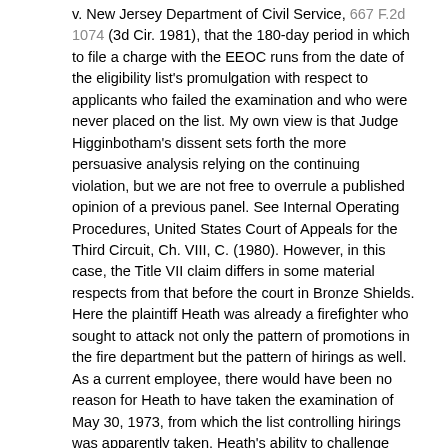v. New Jersey Department of Civil Service, 667 F.2d 1074 (3d Cir. 1981), that the 180-day period in which to file a charge with the EEOC runs from the date of the eligibility list's promulgation with respect to applicants who failed the examination and who were never placed on the list. My own view is that Judge Higginbotham's dissent sets forth the more persuasive analysis relying on the continuing violation, but we are not free to overrule a published opinion of a previous panel. See Internal Operating Procedures, United States Court of Appeals for the Third Circuit, Ch. VIII, C. (1980). However, in this case, the Title VII claim differs in some material respects from that before the court in Bronze Shields. Here the plaintiff Heath was already a firefighter who sought to attack not only the pattern of promotions in the fire department but the pattern of hirings as well. As a current employee, there would have been no reason for Heath to have taken the examination of May 30, 1973, from which the list controlling hirings was apparently taken. Heath's ability to challenge discriminatory hiring practices may be sustained under the theory that a current employee has standing under Title VII to attack discriminatory hiring practices, even though the complaining employee has not been denied employment. See, e.g., EEOC v. Mississippi College, 626 F.2d 477, 482-83 (5th Cir. 1980), cert. denied, 453 U.S. 912, 101 S.Ct. 3143, 69 L.Ed.2d 994 (1981); Waters v. Heublein, Inc., 547 F.2d 466, 469-70 (9th Cir.